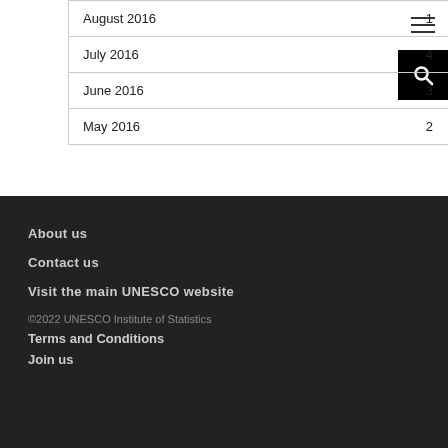| Month | Count |
| --- | --- |
| August 2016 | 1 |
| July 2016 | 4 |
| June 2016 | 3 |
| May 2016 | 2 |
About us
Contact us
Visit the main UNESCO website
©2022 UNESCO Institute of Statistics
Terms and Conditions
Join us